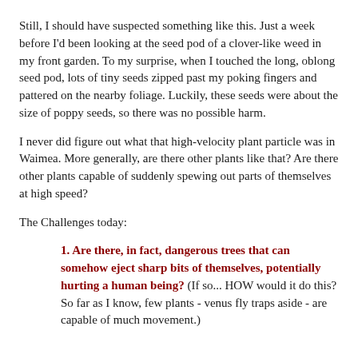Still, I should have suspected something like this.  Just a week before I'd been looking at the seed pod of a clover-like weed in my front garden.  To my surprise, when I touched the long, oblong seed pod, lots of tiny seeds zipped past my poking fingers and pattered on the nearby foliage.  Luckily, these seeds were about the size of poppy seeds, so there was no possible harm.
I never did figure out what that high-velocity plant particle was in Waimea.  More generally, are there other plants like that?  Are there other plants capable of suddenly spewing out parts of themselves at high speed?
The Challenges today:
1.  Are there, in fact, dangerous trees that can somehow eject sharp bits of themselves, potentially hurting a human being?  (If so... HOW would it do this?  So far as I know, few plants - venus fly traps aside - are capable of much movement.)